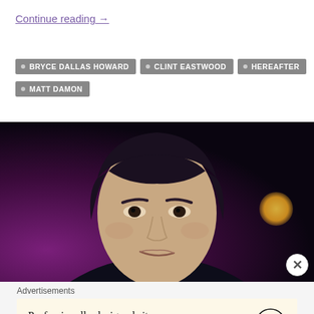Continue reading →
• BRYCE DALLAS HOWARD
• CLINT EASTWOOD
• HEREAFTER
• MATT DAMON
[Figure (photo): Close-up of a young dark-haired man with a slight smirk, shot against a dark blurred background with bokeh light effects in purple and orange/yellow tones.]
Advertisements
Professionally designed sites in less than a week